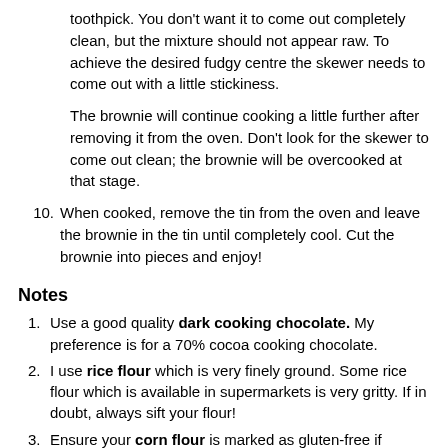toothpick. You don't want it to come out completely clean, but the mixture should not appear raw. To achieve the desired fudgy centre the skewer needs to come out with a little stickiness.
The brownie will continue cooking a little further after removing it from the oven. Don't look for the skewer to come out clean; the brownie will be overcooked at that stage.
10. When cooked, remove the tin from the oven and leave the brownie in the tin until completely cool. Cut the brownie into pieces and enjoy!
Notes
1. Use a good quality dark cooking chocolate. My preference is for a 70% cocoa cooking chocolate.
2. I use rice flour which is very finely ground. Some rice flour which is available in supermarkets is very gritty. If in doubt, always sift your flour!
3. Ensure your corn flour is marked as gluten-free if required. (Some corn flours use wheat and not maize.)
4. For the most accurate results when baking, we recommend